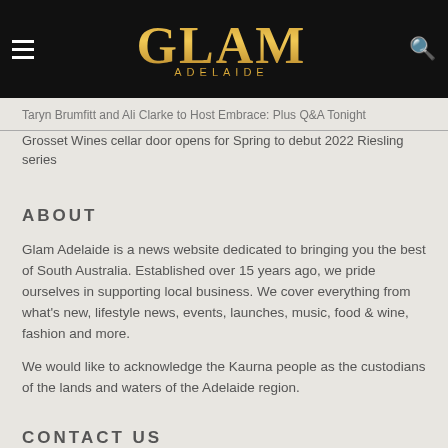GLAM ADELAIDE
Taryn Brumfitt and Ali Clarke to Host Embrace: Plus Q&A Tonight
Grosset Wines cellar door opens for Spring to debut 2022 Riesling series
ABOUT
Glam Adelaide is a news website dedicated to bringing you the best of South Australia. Established over 15 years ago, we pride ourselves in supporting local business. We cover everything from what's new, lifestyle news, events, launches, music, food & wine, fashion and more.
We would like to acknowledge the Kaurna people as the custodians of the lands and waters of the Adelaide region.
CONTACT US
admin@glamadelaide.com.au
Phone 08 8342 7400